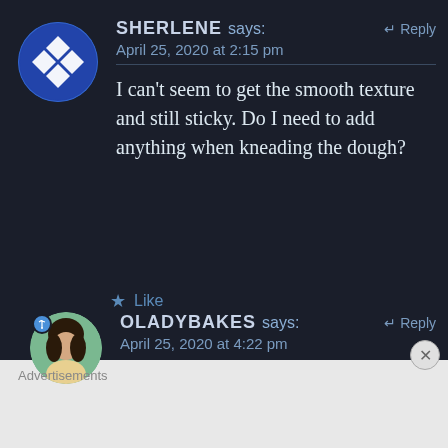[Figure (illustration): Blue and white diamond-pattern circular avatar for user Sherlene]
SHERLENE says: ↵ Reply
April 25, 2020 at 2:15 pm
I can't seem to get the smooth texture and still sticky. Do I need to add anything when kneading the dough?
★ Like
[Figure (photo): Profile photo of a woman with dark hair, circular avatar with blue notification dot for user OLADYBAKES]
OLADYBAKES says: ↵ Reply
April 25, 2020 at 4:22 pm
Advertisements